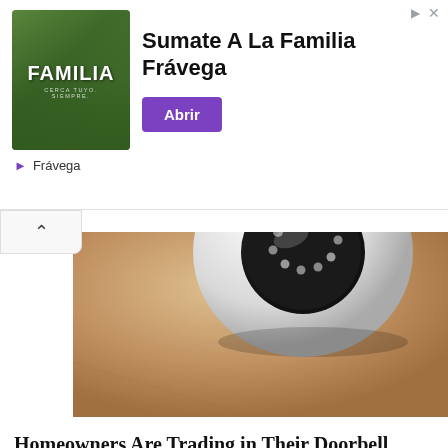[Figure (screenshot): Advertisement banner for Frávega - 'Sumate A La Familia Frávega' with green sports image on left, headline text in center, purple 'Abrir' button on right, and Frávega brand logo below]
[Figure (photo): Close-up photo of a white dome security camera mounted against a beige/tan wall, with a dark lens visible at the top]
Homeowners Are Trading in Their Doorbell Cams for This.
Keilini.com